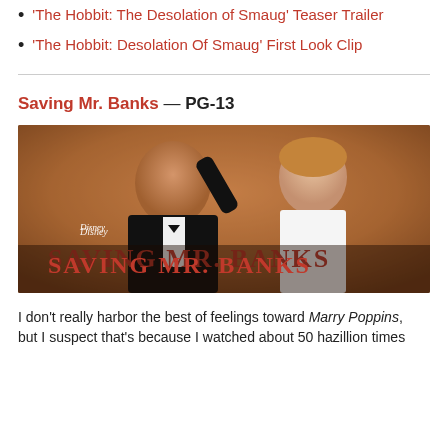'The Hobbit: The Desolation of Smaug' Teaser Trailer
'The Hobbit: Desolation Of Smaug' First Look Clip
Saving Mr. Banks — PG-13
[Figure (photo): Movie poster/promotional image for 'Saving Mr. Banks' showing two actors (a man in a tuxedo and a woman in a white dress) with the Disney logo and 'SAVING MR. BANKS' title overlaid in red.]
I don't really harbor the best of feelings toward Marry Poppins, but I suspect that's because I watched about 50 hazillion times